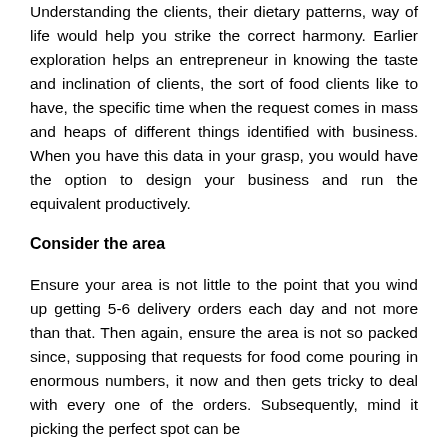Understanding the clients, their dietary patterns, way of life would help you strike the correct harmony. Earlier exploration helps an entrepreneur in knowing the taste and inclination of clients, the sort of food clients like to have, the specific time when the request comes in mass and heaps of different things identified with business. When you have this data in your grasp, you would have the option to design your business and run the equivalent productively.
Consider the area
Ensure your area is not little to the point that you wind up getting 5-6 delivery orders each day and not more than that. Then again, ensure the area is not so packed since, supposing that requests for food come pouring in enormous numbers, it now and then gets tricky to deal with every one of the orders. Subsequently, mind it picking the perfect spot can be